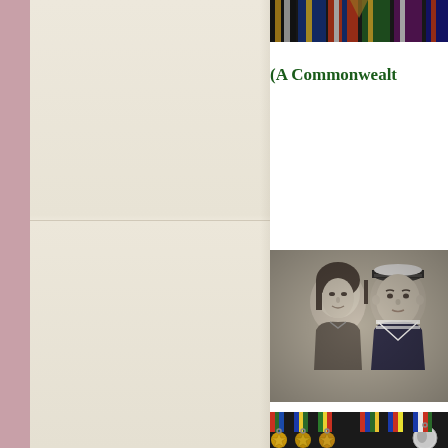[Figure (photo): Left side showing a pink/mauve book spine and cream/beige aged book pages with a horizontal fold line]
[Figure (photo): Top right: close-up of military medals and ribbon bars including yellow, blue, black and gold striped ribbons]
(A Commonwealt
[Figure (photo): Black and white portrait photograph of a young woman and a male sailor in naval uniform with cap]
[Figure (photo): Color photograph of military medals laid out showing star-shaped medals with colorful ribbons including red, blue, green, gold stripes and a round silver medal]